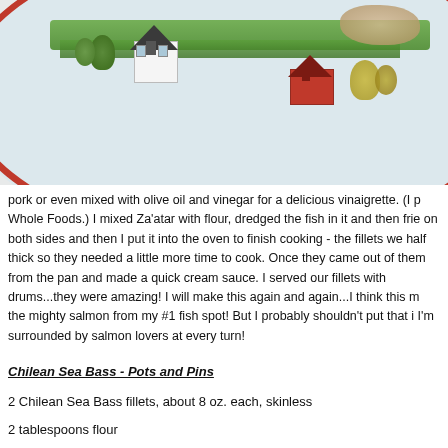[Figure (photo): A decorative plate with a painted scene of white and red houses with trees and a green landscape, sitting on a wooden surface.]
pork or even mixed with olive oil and vinegar for a delicious vinaigrette.  (I p Whole Foods.) I mixed Za'atar with flour, dredged the fish in it and then frie on both sides and then I put it into the oven to finish cooking - the fillets we half thick so they needed a little more time to cook.  Once they came out of them from the pan and made a quick cream sauce.  I served our fillets with drums...they were amazing!  I will make this again and again...I think this m the mighty salmon from my #1 fish spot!  But I probably shouldn't put that i I'm surrounded by salmon lovers at every turn!
Chilean Sea Bass - Pots and Pins
2 Chilean Sea Bass fillets, about 8 oz. each, skinless
2 tablespoons flour
2 teaspoons Za'atar
2 tablespoons olive oil